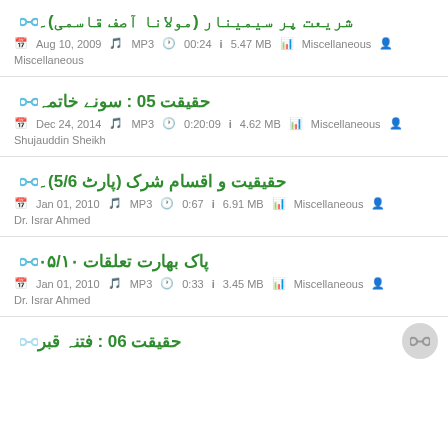شریعت پر سیمینار (مولانا آصف قاسمی)۔ | Aug 10, 2009 | MP3 | 00:24 | 5.47 MB | Miscellaneous | Miscellaneous
حقیقت 05 : سونے خاتمہ | Dec 24, 2014 | MP3 | 0:20:09 | 4.62 MB | Miscellaneous | Shujauddin Sheikh
حقیقیت و اقسام شرک (پارٹ 5/6)۔ | Jan 01, 2010 | MP3 | 0:67 | 6.91 MB | Miscellaneous | Dr. Israr Ahmed
پاک بھارت تعلقات ۰۵/۱۰ | Jan 01, 2010 | MP3 | 0:33 | 3.45 MB | Miscellaneous | Dr. Israr Ahmed
حقیقت 06 : فتنہ قبر